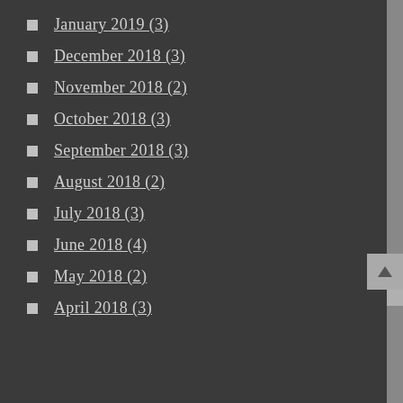January 2019 (3)
December 2018 (3)
November 2018 (2)
October 2018 (3)
September 2018 (3)
August 2018 (2)
July 2018 (3)
June 2018 (4)
May 2018 (2)
April 2018 (3)